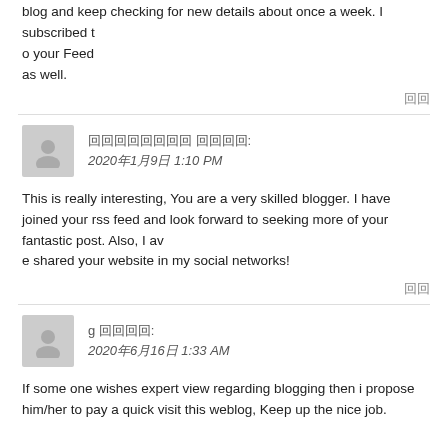This article has really peaked my interest. I am going to bookmark your blog and keep checking for new details about once a week. I subscribed to your Feed as well.
回回
回回回回回回回回 回回回回: 2020年1月9日 1:10 PM
This is really interesting, You are a very skilled blogger. I have joined your rss feed and look forward to seeking more of your fantastic post. Also, I ave shared your website in my social networks!
回回
g 回回回回: 2020年6月16日 1:33 AM
If some one wishes expert view regarding blogging then i propose him/her to pay a quick visit this weblog, Keep up the nice job.